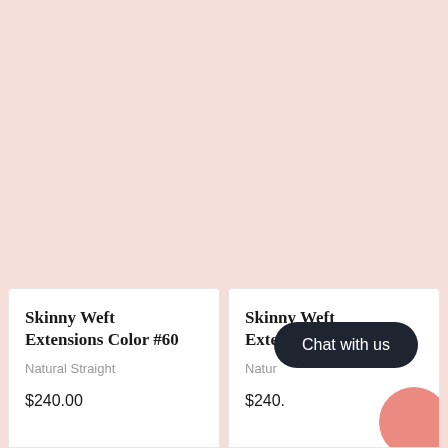[Figure (photo): Two product images side by side showing hair extensions in pink/blush tones against a light pink background]
Skinny Weft Extensions Color #60
Natural Straight
$240.00
Skinny Weft Extensions Color #5
Natural Straight
$240.00
Chat with us